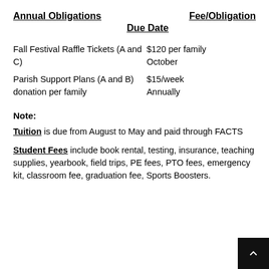Annual Obligations    Fee/Obligation Due Date
| Annual Obligations | Fee/Obligation Due Date |
| --- | --- |
| Fall Festival Raffle Tickets (A and C) | $120 per family
October |
| Parish Support Plans (A and B)
donation per family | $15/week
Annually |
Note:
Tuition is due from August to May and paid through FACTS
Student Fees include book rental, testing, insurance, teaching supplies, yearbook, field trips, PE fees, PTO fees, emergency kit, classroom fee, graduation fee, Sports Boosters.